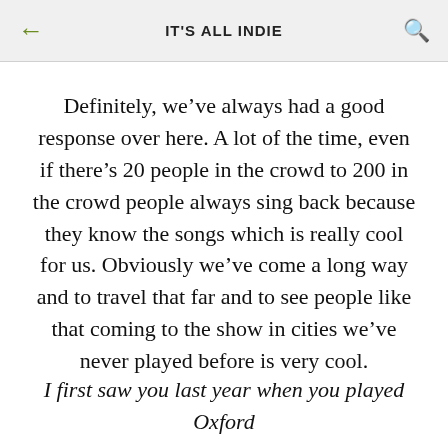IT'S ALL INDIE
Definitely, we’ve always had a good response over here. A lot of the time, even if there’s 20 people in the crowd to 200 in the crowd people always sing back because they know the songs which is really cool for us. Obviously we’ve come a long way and to travel that far and to see people like that coming to the show in cities we’ve never played before is very cool.
I first saw you last year when you played Oxford